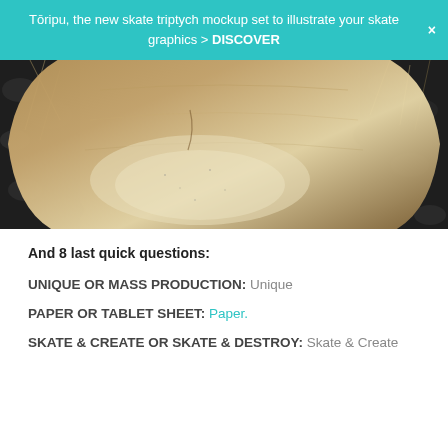Tōripu, the new skate triptych mockup set to illustrate your skate graphics > DISCOVER
[Figure (photo): Close-up photo of a wooden skateboard deck lying on black pebbles and dry grass, showing the wood grain and texture with concave shape visible]
And 8 last quick questions:
UNIQUE OR MASS PRODUCTION: Unique
PAPER OR TABLET SHEET: Paper.
SKATE & CREATE OR SKATE & DESTROY: Skate & Create